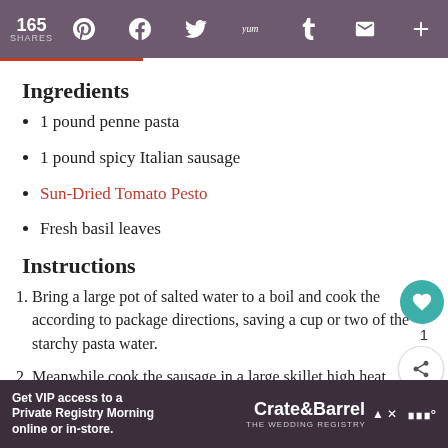165 SHARES [social icons: Pinterest, Facebook, Twitter, Yummly, Tumblr, Email, More]
Ingredients
1 pound penne pasta
1 pound spicy Italian sausage
Sun-Dried Tomato Pesto
Fresh basil leaves
Instructions
1. Bring a large pot of salted water to a boil and cook the according to package directions, saving a cup or two of the starchy pasta water.
2. Meanwhile cook the sausage in a large skillet high heat, using a wooden spoon to break it up into small chunks.
Get VIP access to a Private Registry Morning online or in-store. Crate&Barrel THE WEDDING REGISTRY